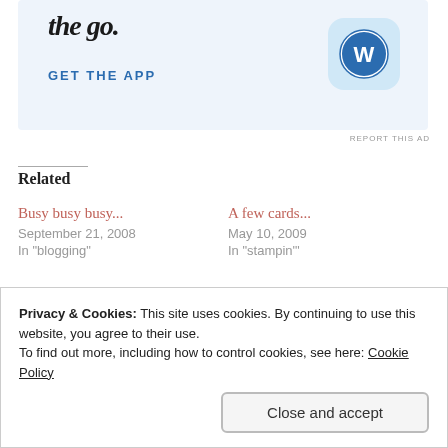[Figure (screenshot): WordPress app advertisement banner with text 'the go.' (partial), 'GET THE APP' in blue, and WordPress logo icon on light blue background]
REPORT THIS AD
Related
Busy busy busy...
September 21, 2008
In "blogging"
A few cards...
May 10, 2009
In "stampin'"
It doesn't matter what you call it...
Privacy & Cookies: This site uses cookies. By continuing to use this website, you agree to their use.
To find out more, including how to control cookies, see here: Cookie Policy